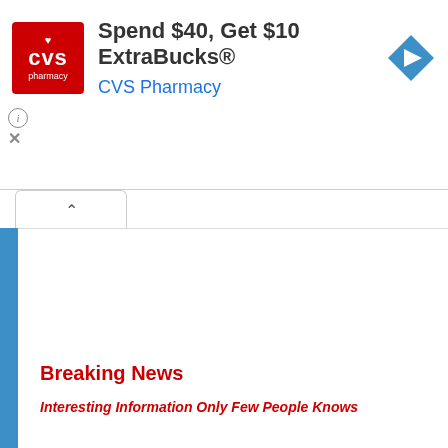[Figure (screenshot): CVS Pharmacy advertisement banner with red CVS logo, headline 'Spend $40, Get $10 ExtraBucks®', blue 'CVS Pharmacy' brand text, blue navigation arrow icon, and info/close controls]
Breaking News
Interesting Information Only Few People Knows